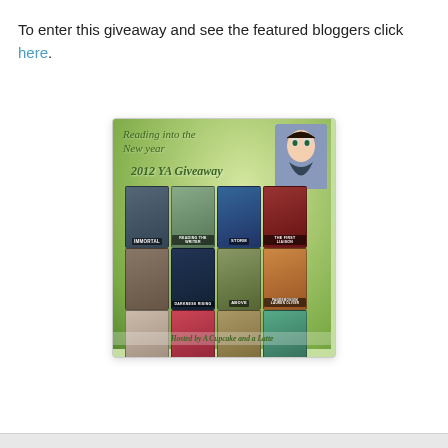To enter this giveaway and see the featured bloggers click here.
[Figure (illustration): A promotional poster for a '2012 YA Giveaway' titled 'Reading into the New Year'. The poster has a green bokeh background with an anime-style girl character in the top right. It shows a grid of 12 YA book covers including Immortal, Cinder, Insurgent, and others. The bottom reads 'Hosted by A Cupcake and a Latte'.]